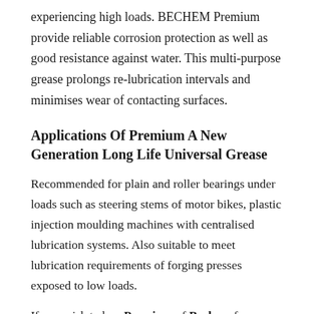experiencing high loads. BECHEM Premium provide reliable corrosion protection as well as good resistance against water. This multi-purpose grease prolongs re-lubrication intervals and minimises wear of contacting surfaces.
Applications Of Premium A New Generation Long Life Universal Grease
Recommended for plain and roller bearings under loads such as steering stems of motor bikes, plastic injection moulding machines with centralised lubrication systems. Also suitable to meet lubrication requirements of forging presses exposed to low loads.
If you wish to buy Premium of Bechem from Mumbai, India, please contact us at Globalink...